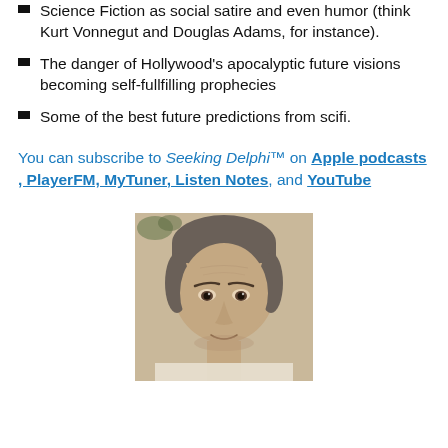Science Fiction as social satire and even humor (think Kurt Vonnegut and Douglas Adams, for instance).
The danger of Hollywood's apocalyptic future visions becoming self-fullfilling prophecies
Some of the best future predictions from scifi.
You can subscribe to Seeking Delphi™ on Apple podcasts , PlayerFM, MyTuner, Listen Notes, and YouTube
[Figure (photo): Portrait photo of a middle-aged man with gray-brown hair, shown from the shoulders up, cropped at bottom of frame.]